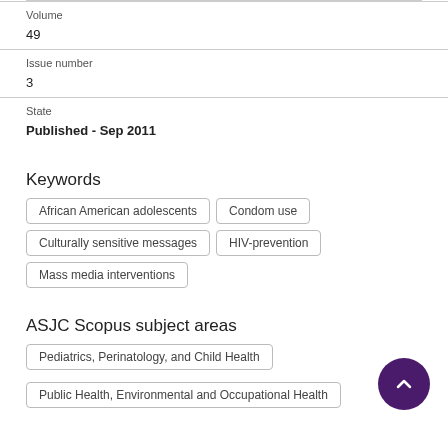Volume
49
Issue number
3
State
Published - Sep 2011
Keywords
African American adolescents
Condom use
Culturally sensitive messages
HIV-prevention
Mass media interventions
ASJC Scopus subject areas
Pediatrics, Perinatology, and Child Health
Public Health, Environmental and Occupational Health